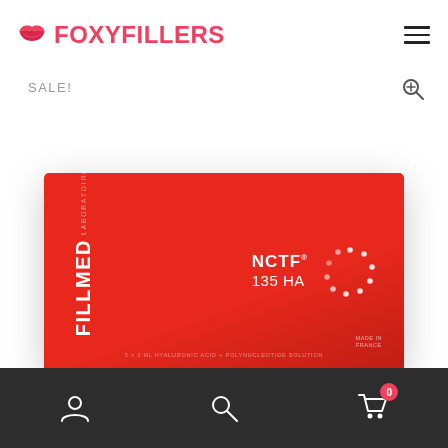FOXYFILLERS
SALE!
[Figure (photo): Red Fillmed NCTF 135 HA product box on white background]
Bottom navigation bar with user, search, and cart (0) icons